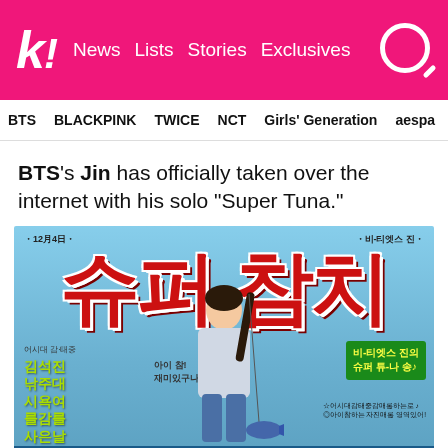k! News  Lists  Stories  Exclusives
BTS  BLACKPINK  TWICE  NCT  Girls' Generation  aespa
BTS's Jin has officially taken over the internet with his solo “Super Tuna.”
[Figure (photo): Promotional magazine-style poster for BTS Jin's 'Super Tuna' solo song. Large Korean text reads '슈퍼 참치' (Super Tuna) in red with white outline. Jin is shown holding a fishing rod with a large tuna. Text includes date 12월 4일 and various Korean annotations. Green box on right reads '비-티엣스 진의 슈퍼 튜-나 송'. Left side has yellow-green Korean text listing names.]